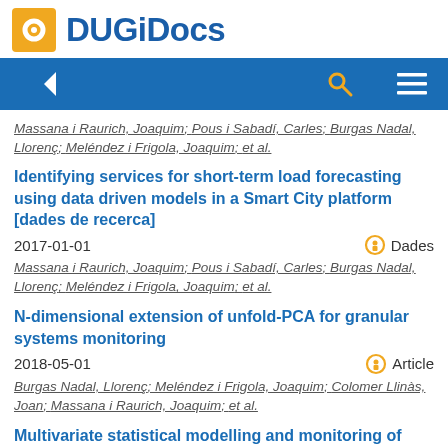DUGiDocs
Massana i Raurich, Joaquim; Pous i Sabadí, Carles; Burgas Nadal, Llorenç; Meléndez i Frigola, Joaquim; et al.
Identifying services for short-term load forecasting using data driven models in a Smart City platform [dades de recerca]
2017-01-01
Dades
Massana i Raurich, Joaquim; Pous i Sabadí, Carles; Burgas Nadal, Llorenç; Meléndez i Frigola, Joaquim; et al.
N-dimensional extension of unfold-PCA for granular systems monitoring
2018-05-01
Article
Burgas Nadal, Llorenç; Meléndez i Frigola, Joaquim; Colomer Llinàs, Joan; Massana i Raurich, Joaquim; et al.
Multivariate statistical modelling and monitoring of smart buildings